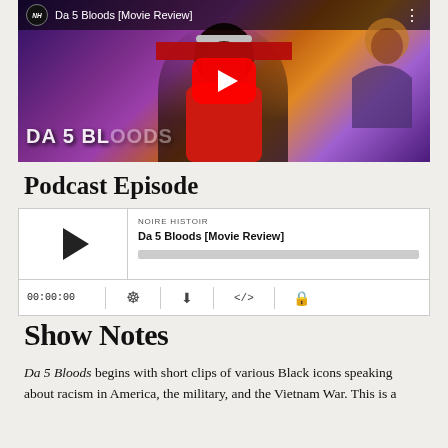[Figure (screenshot): YouTube video thumbnail for 'Da 5 Bloods [Movie Review]' by Noire Histoir. Shows a person in a red shirt against a colorful purple and orange artistic background. A red YouTube play button is centered on the image. The top bar shows the NH logo and video title.]
Podcast Episode
[Figure (screenshot): Embedded podcast player widget. Shows NOIRE HISTOIR label, episode title 'Da 5 Bloods [Movie Review]', a play button on the left, a gray progress bar, and a bottom bar with timestamp 00:00:00 and icons for RSS, download, embed, and share/lock.]
Show Notes
Da 5 Bloods begins with short clips of various Black icons speaking about racism in America, the military, and the Vietnam War. This is a...